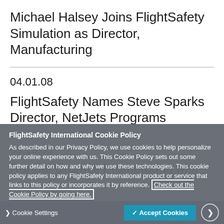Michael Halsey Joins FlightSafety Simulation as Director, Manufacturing
04.01.08
FlightSafety Names Steve Sparks Director, NetJets Programs
03.19.08
Section-header partial text (partially obscured)
FlightSafety International Cookie Policy
As described in our Privacy Policy, we use cookies to help personalize your online experience with us. This Cookie Policy sets out some further detail on how and why we use these technologies. This cookie policy applies to any FlightSafety International product or service that links to this policy or incorporates it by reference. Check out the Cookie Policy by going here.